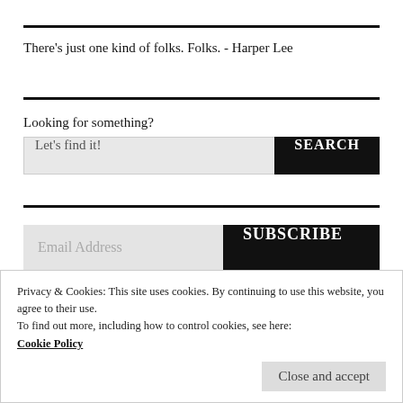There's just one kind of folks. Folks. - Harper Lee
Looking for something?
Let's find it!
SEARCH
Email Address
SUBSCRIBE
Join 938 other subscribers
Privacy & Cookies: This site uses cookies. By continuing to use this website, you agree to their use.
To find out more, including how to control cookies, see here: Cookie Policy
Close and accept